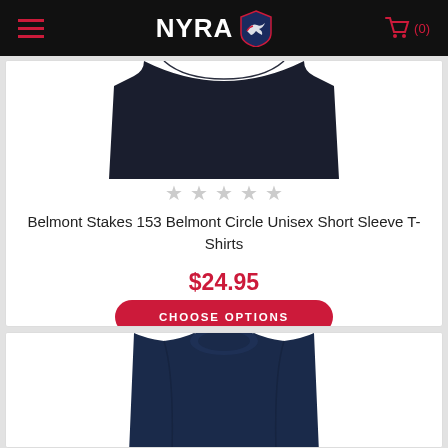NYRA — navigation bar with hamburger menu and cart (0)
[Figure (photo): Black t-shirt product photo showing bottom portion of a dark navy/black short-sleeve t-shirt]
★★★★★ (5 empty/grey stars rating)
Belmont Stakes 153 Belmont Circle Unisex Short Sleeve T-Shirts
$24.95
CHOOSE OPTIONS
[Figure (photo): Navy blue crewneck sweatshirt/t-shirt, second product, partially visible at bottom of page]